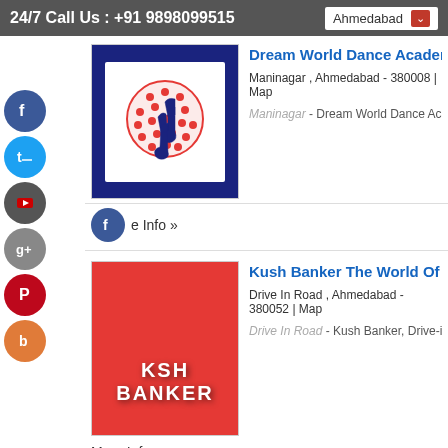24/7 Call Us : +91 9898099515  Ahmedabad
[Figure (logo): Dream World Dance Academy logo: white background with red globe and musical note silhouette on dark blue background]
Dream World Dance Academy.
Maninagar , Ahmedabad - 380008 | Map
Maninagar - Dream World Dance Academy, M
e Info »
[Figure (logo): Kush Banker The World Of Dance logo: red background with stylized text KUSH BANKER]
Kush Banker The World Of Dan
Drive In Road , Ahmedabad - 380052 | Map
Drive In Road - Kush Banker, Drive-in-Road, A
More Info »